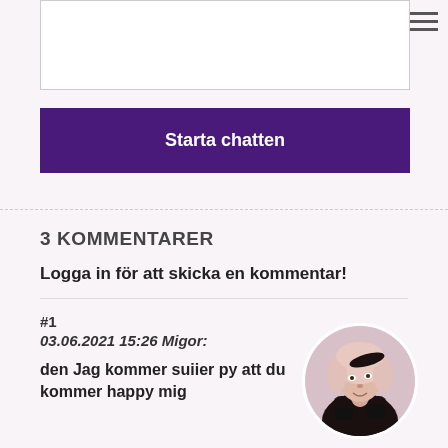[Figure (screenshot): Text input textarea box (white, bordered)]
Starta chatten
3 KOMMENTARER
Logga in för att skicka en kommentar!
#1
03.06.2021 15:26 Migor:
den Jag kommer suiier py att du kommer happy mig
[Figure (photo): Circular avatar photo of a person with light wavy hair wearing dark clothing]